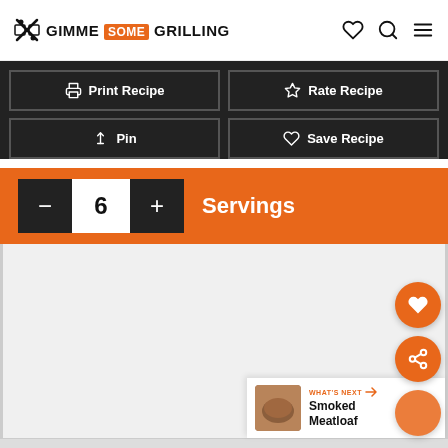GIMME SOME GRILLING
Print Recipe
Rate Recipe
Pin
Save Recipe
6 Servings
WHAT'S NEXT → Smoked Meatloaf